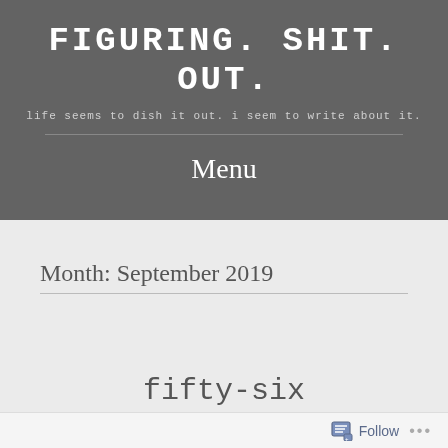FIGURING. SHIT. OUT.
life seems to dish it out. i seem to write about it.
Menu
Month: September 2019
fifty-six
Follow